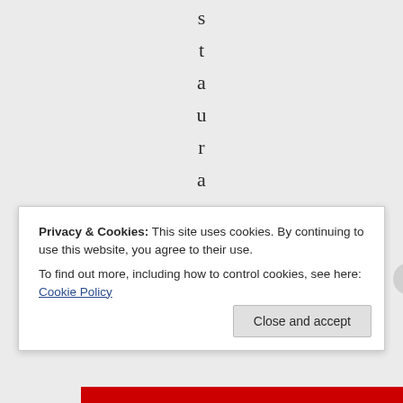s t a u r a n t s c r
Privacy & Cookies: This site uses cookies. By continuing to use this website, you agree to their use.
To find out more, including how to control cookies, see here: Cookie Policy
Close and accept